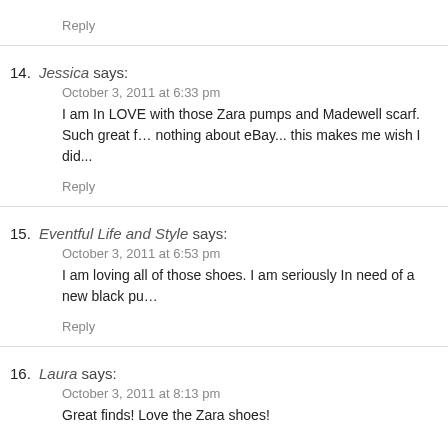Reply
14. Jessica says:
October 3, 2011 at 6:33 pm
I am In LOVE with those Zara pumps and Madewell scarf. Such great f… nothing about eBay... this makes me wish I did...
Reply
15. Eventful Life and Style says:
October 3, 2011 at 6:53 pm
I am loving all of those shoes. I am seriously In need of a new black pu…
Reply
16. Laura says:
October 3, 2011 at 8:13 pm
Great finds! Love the Zara shoes!